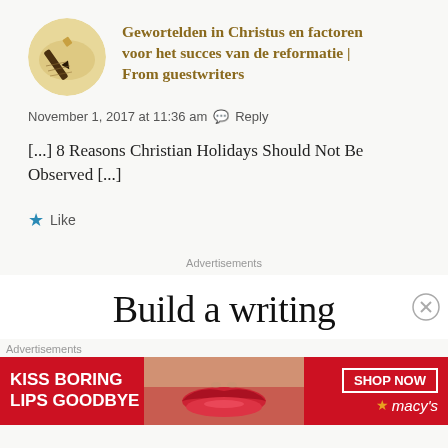Gewortelden in Christus en factoren voor het succes van de reformatie | From guestwriters
November 1, 2017 at 11:36 am  Reply
[...] 8 Reasons Christian Holidays Should Not Be Observed [...]
★ Like
Advertisements
[Figure (screenshot): Blog comment with avatar showing a pen on paper, Dutch title in gold/brown bold font, date metadata, comment body text, and Like button, followed by an advertisement area showing 'Build a writing' text and a Macy's lipstick ad banner.]
Advertisements
KISS BORING LIPS GOODBYE  SHOP NOW  ★macy's